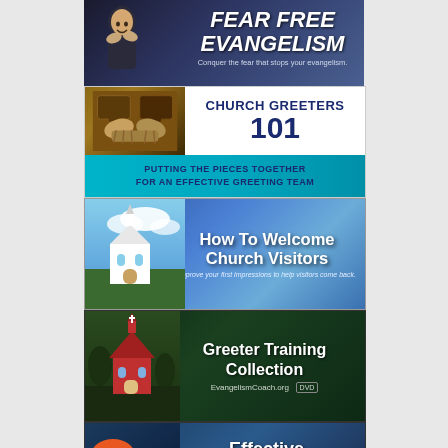[Figure (illustration): Fear Free Evangelism banner with dark blue gradient background and white italic bold text reading 'Fear Free Evangelism' with subtitle 'Conquer the fear that stops your evangelism.']
[Figure (illustration): Church Greeters 101 banner with hands and puzzle pieces image on left, dark blue bold text 'CHURCH GREETERS 101' on white background top section, and teal bottom bar with text 'PUTTING THE PIECES TOGETHER FOR AN EFFECTIVE GREETING TEAM']
[Figure (illustration): How To Welcome Church Visitors banner with blue sky and church image background, white bold text 'How To Welcome Church Visitors' and italic subtitle 'Improve your first impressions to help visitors come back.']
[Figure (illustration): Greeter Training Collection banner with dark green background, red church building image on left, white bold text 'Greeter Training Collection', and 'EvangelismCoach.org DVD' below]
[Figure (illustration): Effective Conversations banner with dark blue background, orange and green speech bubble icons on left, white bold text 'Effective Conversations' and subtitle 'Clues to Better Personal Evangelism']